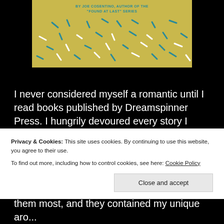[Figure (illustration): Top portion of a book cover with golden/yellow background, teal text reading 'BY JOE COSENTINO, AUTHOR OF THE "FOUND AT LAST" SERIES', and scattered colorful confetti-like dashes in teal and white.]
I never considered myself a romantic until I read books published by Dreamspinner Press. I hungrily devoured every story I could read. Each one tugged at my heart strings and more importantly got me thinking about my own romantic life and
Privacy & Cookies: This site uses cookies. By continuing to use this website, you agree to their use.
To find out more, including how to control cookies, see here: Cookie Policy
Close and accept
them most, and they contained my unique aro...